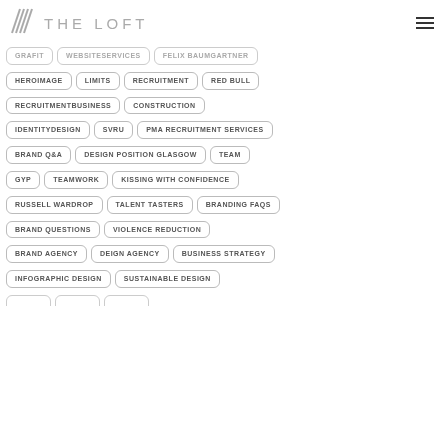THE LOFT
GRAFIT
WEBSITESERVICES
FELIX BAUMGARTNER
HEROIMAGE
LIMITS
RECRUITMENT
RED BULL
RECRUITMENTBUSINESS
CONSTRUCTION
IDENTITYDESIGN
SVRU
PMA RECRUITMENT SERVICES
BRAND Q&A
DESIGN POSITION GLASGOW
TEAM
GYP
TEAMWORK
KISSING WITH CONFIDENCE
RUSSELL WARDROP
TALENT TASTERS
BRANDING FAQS
BRAND QUESTIONS
VIOLENCE REDUCTION
BRAND AGENCY
DEIGN AGENCY
BUSINESS STRATEGY
INFOGRAPHIC DESIGN
SUSTAINABLE DESIGN